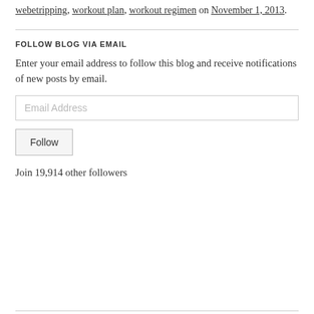webetripping, workout plan, workout regimen on November 1, 2013.
FOLLOW BLOG VIA EMAIL
Enter your email address to follow this blog and receive notifications of new posts by email.
Email Address
Follow
Join 19,914 other followers